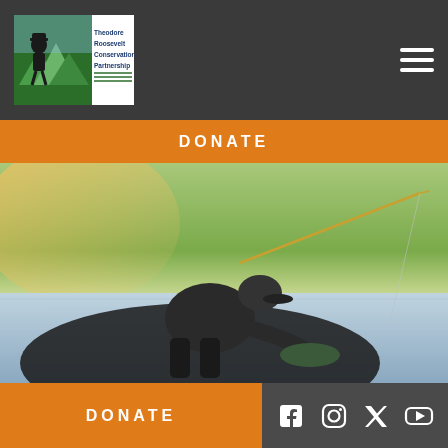[Figure (logo): Theodore Roosevelt Conservation Partnership logo with silhouette of Roosevelt and mountains]
DONATE
[Figure (photo): Person fishing, leaning over water with a fishing rod, catching a fish, at sunset with trees in background]
[Figure (photo): Person with sunglasses near a large bird (eagle) with wings spread]
DONATE
[Figure (other): Social media icons: Facebook, Instagram, Twitter, YouTube]